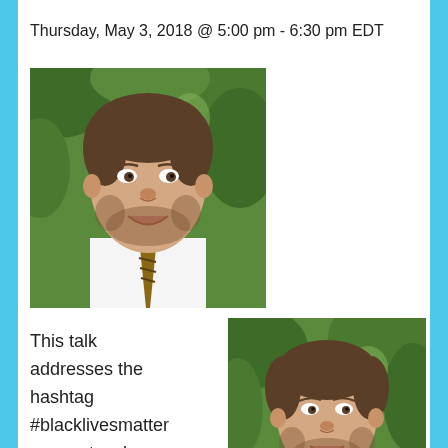Thursday, May 3, 2018 @ 5:00 pm - 6:30 pm EDT
[Figure (photo): Headshot of a man with short brown hair and beard, wearing a white shirt and striped tie, smiling, with green foliage in background]
This talk addresses the hashtag #blacklivesmatter as a network form: a network (counter)infrastru
[Figure (photo): Second headshot of the same man with short brown hair and beard, wearing a white shirt and striped tie, smiling, with green foliage in background]